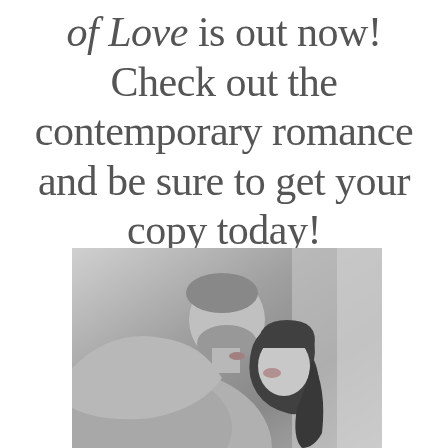of Love is out now! Check out the contemporary romance and be sure to get your copy today!
[Figure (photo): Black and white photograph of a man and woman in an intimate moment, leaning towards each other about to kiss, man wearing a grey t-shirt, woman with dark hair]